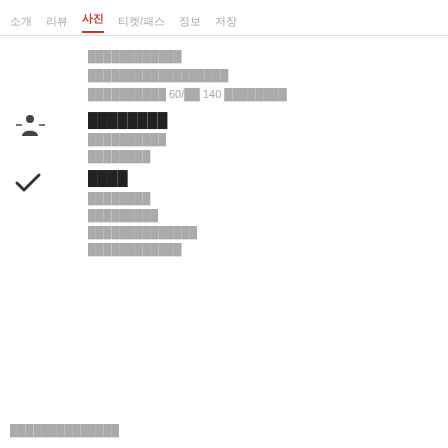소개  리뷰  사진  티켓/패스  정보  저장
████████████
██████████████████
██████████ 60/██ 140 ████████
████████
██████████
████████
████
████████
█████████
██████████████
████████████
██████████████